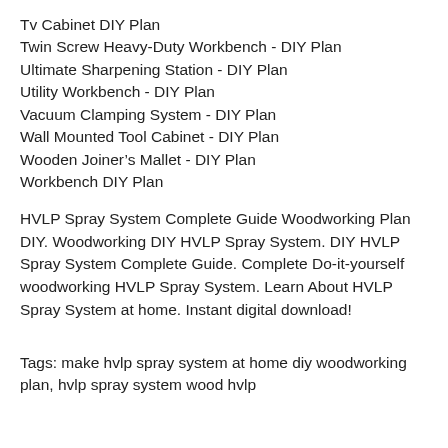Tv Cabinet DIY Plan
Twin Screw Heavy-Duty Workbench - DIY Plan
Ultimate Sharpening Station - DIY Plan
Utility Workbench - DIY Plan
Vacuum Clamping System - DIY Plan
Wall Mounted Tool Cabinet - DIY Plan
Wooden Joiner’s Mallet - DIY Plan
Workbench DIY Plan
HVLP Spray System Complete Guide Woodworking Plan DIY. Woodworking DIY HVLP Spray System. DIY HVLP Spray System Complete Guide. Complete Do-it-yourself woodworking HVLP Spray System. Learn About HVLP Spray System at home. Instant digital download!
Tags: make hvlp spray system at home diy woodworking plan, hvlp spray system wood hvlp